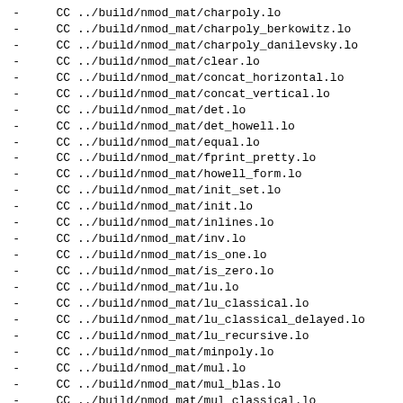-   CC   ../build/nmod_mat/charpoly.lo
-   CC   ../build/nmod_mat/charpoly_berkowitz.lo
-   CC   ../build/nmod_mat/charpoly_danilevsky.lo
-   CC   ../build/nmod_mat/clear.lo
-   CC   ../build/nmod_mat/concat_horizontal.lo
-   CC   ../build/nmod_mat/concat_vertical.lo
-   CC   ../build/nmod_mat/det.lo
-   CC   ../build/nmod_mat/det_howell.lo
-   CC   ../build/nmod_mat/equal.lo
-   CC   ../build/nmod_mat/fprint_pretty.lo
-   CC   ../build/nmod_mat/howell_form.lo
-   CC   ../build/nmod_mat/init_set.lo
-   CC   ../build/nmod_mat/init.lo
-   CC   ../build/nmod_mat/inlines.lo
-   CC   ../build/nmod_mat/inv.lo
-   CC   ../build/nmod_mat/is_one.lo
-   CC   ../build/nmod_mat/is_zero.lo
-   CC   ../build/nmod_mat/lu.lo
-   CC   ../build/nmod_mat/lu_classical.lo
-   CC   ../build/nmod_mat/lu_classical_delayed.lo
-   CC   ../build/nmod_mat/lu_recursive.lo
-   CC   ../build/nmod_mat/minpoly.lo
-   CC   ../build/nmod_mat/mul.lo
-   CC   ../build/nmod_mat/mul_blas.lo
-   CC   ../build/nmod_mat/mul_classical.lo
-   CC   ../build/nmod_mat/mul_classical_threaded.lo
-   CC   ../build/nmod_mat/mul_nmod_vec.lo
-   CC   ../build/nmod_mat/mul_nmod_vec_ptr.lo
-   CC   ../build/nmod_mat/mul_strassen.lo
-   CC   ../build/nmod_mat/neg.lo